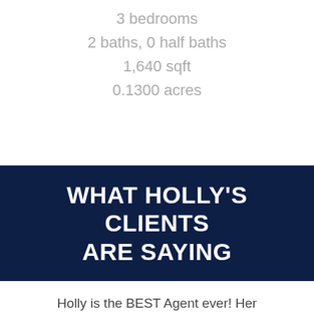3 bedrooms
2 baths, 0 half baths
1,640 sqft
0.1300 acres
WHAT HOLLY'S CLIENTS ARE SAYING
Holly is the BEST Agent ever! Her communication and patience was most valuable. ...